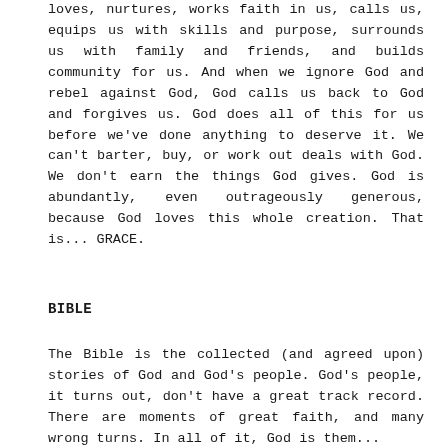loves, nurtures, works faith in us, calls us, equips us with skills and purpose, surrounds us with family and friends, and builds community for us. And when we ignore God and rebel against God, God calls us back to God and forgives us. God does all of this for us before we've done anything to deserve it. We can't barter, buy, or work out deals with God. We don't earn the things God gives. God is abundantly, even outrageously generous, because God loves this whole creation. That is... GRACE.
BIBLE
The Bible is the collected (and agreed upon) stories of God and God's people. God's people, it turns out, don't have a great track record. There are moments of great faith, and many wrong turns. In all of it, God is them...